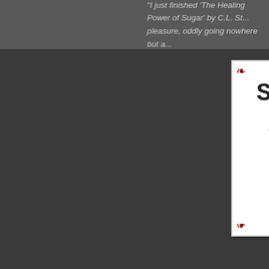I just finished 'The Healing Power of Sugar' by C.L. S... pleasure, oddly going nowhere but a...
[Figure (logo): Shut Up and Read blog logo with decorative border, bold title text and red subtitle 'Read It & Reap!']
By Sheri - December 17, 2015   No comments:
Labels: Author Interviews, Read It and Reap
Tuesday, 15 December 2015
A Whisper of Death by Paul Barrett: Ir
[Figure (illustration): Book tour banner showing mountain scenery with text 'December 14- Ja... Book Tou...' and Bewitching Book Tours logo with horse silhouette]